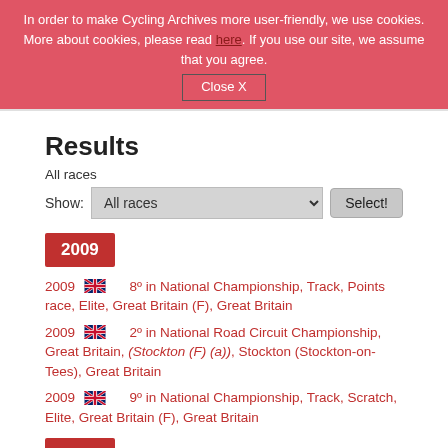In order to make Cycling Archives more user-friendly, we use cookies. More about cookies, please read here. If you use our site, we assume that you agree. Close X
Results
All races
Show: All races  Select!
2009
2009 [GB flag] 8º in National Championship, Track, Points race, Elite, Great Britain (F), Great Britain
2009 [GB flag] 2º in National Road Circuit Championship, Great Britain, (Stockton (F) (a)), Stockton (Stockton-on-Tees), Great Britain
2009 [GB flag] 9º in National Championship, Track, Scratch, Elite, Great Britain (F), Great Britain
2008